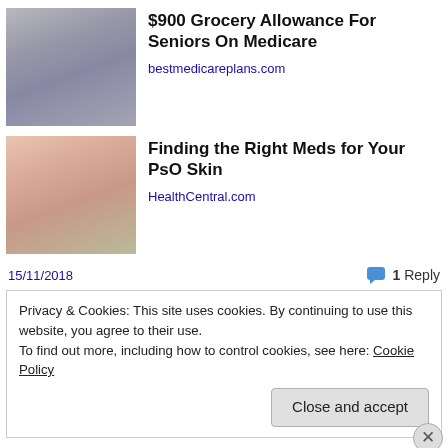[Figure (photo): Thumbnail image of people in a grocery store]
$900 Grocery Allowance For Seniors On Medicare
bestmedicareplans.com
[Figure (photo): Thumbnail image of hands with skin condition]
Finding the Right Meds for Your PsO Skin
HealthCentral.com
15/11/2018
1 Reply
Privacy & Cookies: This site uses cookies. By continuing to use this website, you agree to their use.
To find out more, including how to control cookies, see here: Cookie Policy
Close and accept
Advertisements